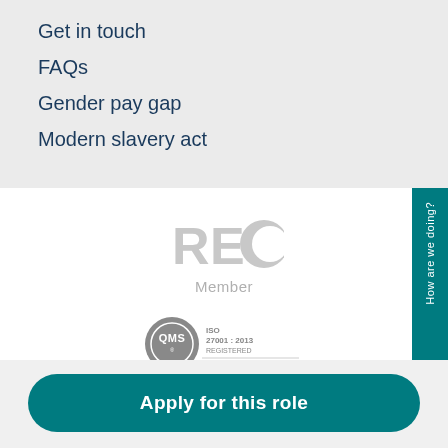Get in touch
FAQs
Gender pay gap
Modern slavery act
[Figure (logo): REC Member logo in grey]
[Figure (logo): QMS ISO 27001:2013 registered certification badge]
Apply for this role